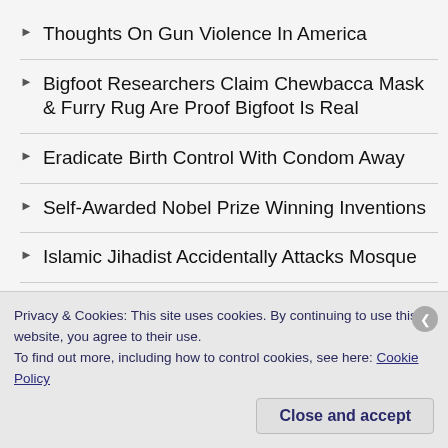Thoughts On Gun Violence In America
Bigfoot Researchers Claim Chewbacca Mask & Furry Rug Are Proof Bigfoot Is Real
Eradicate Birth Control With Condom Away
Self-Awarded Nobel Prize Winning Inventions
Islamic Jihadist Accidentally Attacks Mosque
Apocalypse To Include Only Christians, Says God
Superhero Quote Of The Day
Privacy & Cookies: This site uses cookies. By continuing to use this website, you agree to their use.
To find out more, including how to control cookies, see here: Cookie Policy
Close and accept